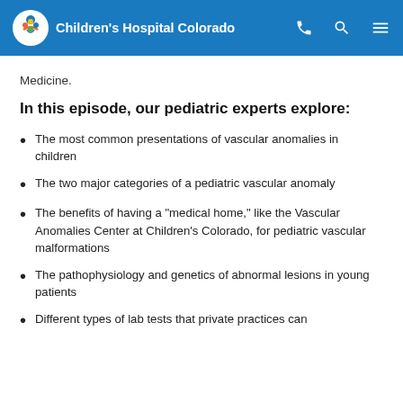Children's Hospital Colorado
Medicine.
In this episode, our pediatric experts explore:
The most common presentations of vascular anomalies in children
The two major categories of a pediatric vascular anomaly
The benefits of having a "medical home," like the Vascular Anomalies Center at Children's Colorado, for pediatric vascular malformations
The pathophysiology and genetics of abnormal lesions in young patients
Different types of lab tests that private practices can